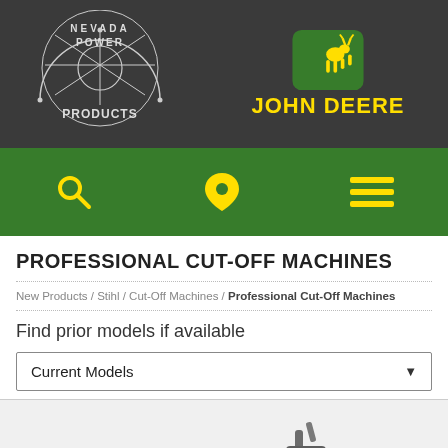[Figure (logo): Nevada Power Products circular logo with atomic/starburst design, white text on dark background]
[Figure (logo): John Deere jumping deer logo in yellow on green rounded square, with yellow 'JOHN DEERE' text below]
[Figure (infographic): Green navigation bar with yellow search magnifying glass icon, yellow location pin icon, and yellow hamburger menu icon]
PROFESSIONAL CUT-OFF MACHINES
New Products / Stihl / Cut-Off Machines / Professional Cut-Off Machines
Find prior models if available
Current Models
[Figure (photo): Partial view of a cut-off machine tool at the bottom of the page]